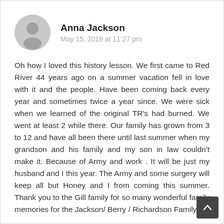Anna Jackson
May 15, 2019 at 11:27 pm
Oh how I loved this history lesson. We first came to Red River 44 years ago on a summer vacation fell in love with it and the people. Have been coming back every year and sometimes twice a year since. We were sick when we learned of the original TR's had burned. We went at least 2 while there. Our family has grown from 3 to 12 and have all been there until last summer when my grandson and his family and my son in law couldn't make it. Because of Army and work . It will be just my husband and I this year. The Army and some surgery will keep all but Honey and I from coming this summer. Thank you to the Gill family for so many wonderful family memories for the Jackson/ Berry / Richardson Family.